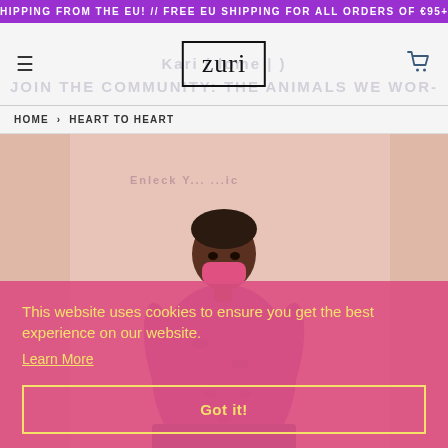HIPPING FROM THE EU! // FREE EU SHIPPING FOR ALL ORDERS OF €95+
[Figure (screenshot): Zuri fashion website header with hamburger menu, Zuri logo in bordered box, and cart icon]
HOME › HEART TO HEART
[Figure (photo): Woman wearing purple floral African print dress and pink face mask, standing against a light pink background]
This website uses cookies to ensure you get the best experience on our website.
Learn More
Got it!